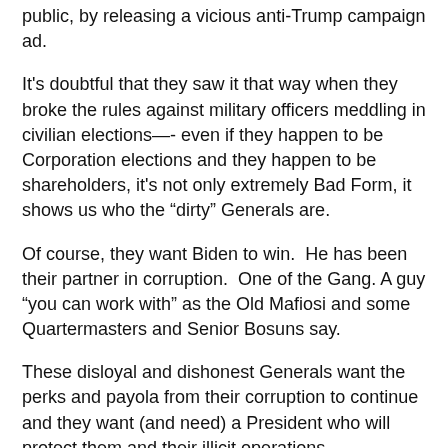public, by releasing a vicious anti-Trump campaign ad.
It's doubtful that they saw it that way when they broke the rules against military officers meddling in civilian elections—- even if they happen to be Corporation elections and they happen to be shareholders, it's not only extremely Bad Form, it shows us who the “dirty” Generals are.
Of course, they want Biden to win.  He has been their partner in corruption.  One of the Gang. A guy “you can work with” as the Old Mafiosi and some Quartermasters and Senior Bosuns say.
These disloyal and dishonest Generals want the perks and payola from their corruption to continue and they want (and need) a President who will protect them and their illicit operations.
Imagine the shock if, for example, we were to learn that General Mattis is a sadistic homosexual who runs most of the pervie prostitution rings in the world?
Or suppose that General [text continues below]